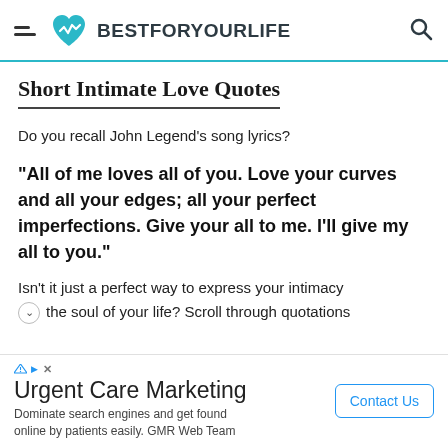BESTFORYOURLIFE
Short Intimate Love Quotes
Do you recall John Legend’s song lyrics?
“All of me loves all of you. Love your curves and all your edges; all your perfect imperfections. Give your all to me. I’ll give my all to you.”
Isn’t it just a perfect way to express your intimacy the soul of your life? Scroll through quotations
Urgent Care Marketing
Dominate search engines and get found online by patients easily. GMR Web Team